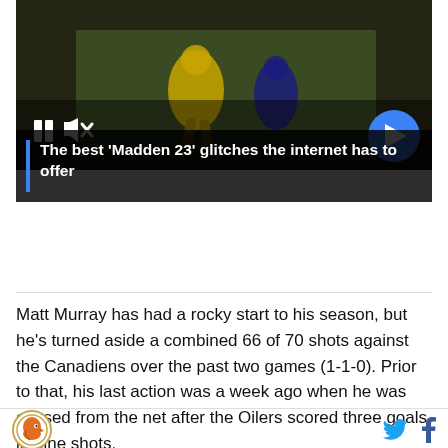[Figure (screenshot): Video player showing football players, with pause button, mute button, and blue arrow next button]
The best ‘Madden 23’ glitches the internet has to offer
Matt Murray has had a rocky start to his season, but he’s turned aside a combined 66 of 70 shots against the Canadiens over the past two games (1-1-0). Prior to that, his last action was a week ago when he was chased from the net after the Oilers scored three goals in nine shots.
Logo | Twitter | Facebook